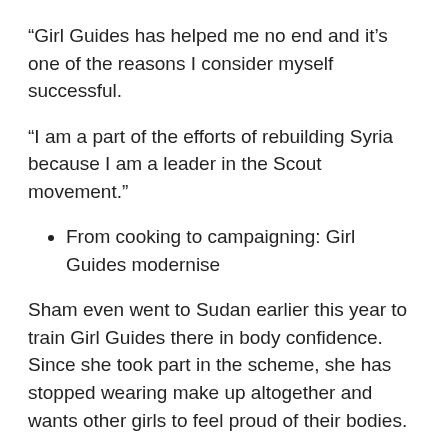“Girl Guides has helped me no end and it’s one of the reasons I consider myself successful.
“I am a part of the efforts of rebuilding Syria because I am a leader in the Scout movement.”
From cooking to campaigning: Girl Guides modernise
Sham even went to Sudan earlier this year to train Girl Guides there in body confidence. Since she took part in the scheme, she has stopped wearing make up altogether and wants other girls to feel proud of their bodies.